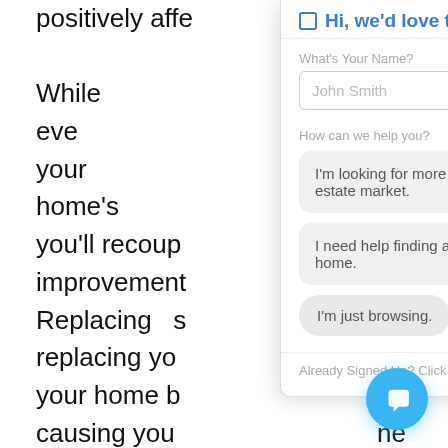positively affe
While not eve   ke your home's   es you'll recoup   ng improvement   e. Replacing s   or replacing yo   ke your home b   ut causing you   ne process. Jus   ell thought out   to make sure that your improvements mat   er details of your home.
[Figure (screenshot): Chat widget overlay with header 'Hi, we'd love to chat!', a 'What's Your Name?' label with a text input showing placeholder 'John Smith', a 'How can we help you?' label with three options: 'I'm looking for more info on the real estate market.', 'I need help finding a specific type of home.', 'I'm just browsing.', and a footer 'Already Signed Up? Click here to login.']
[Figure (other): Blue circular chat FAB button with a speech bubble icon in the bottom right corner.]